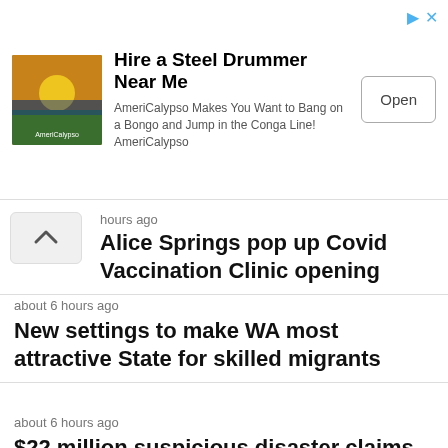[Figure (other): Advertisement banner: image of sunset/nature scene on left, text 'Hire a Steel Drummer Near Me', 'AmeriCalypso Makes You Want to Bang on a Bongo and Jump in the Conga Line! AmeriCalypso', and an 'Open' button on the right.]
hours ago
Alice Springs pop up Covid Vaccination Clinic opening
about 6 hours ago
New settings to make WA most attractive State for skilled migrants
about 6 hours ago
$22 million suspicious disaster claims blocked
about 6 hours ago
BUSHFIRES NT MESSAGE: ADVICE – LOCATION So Dariagala Read THUMPING